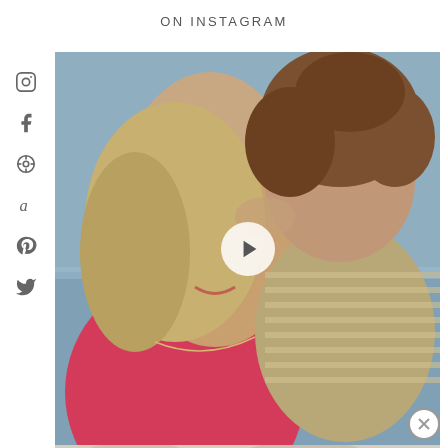ON INSTAGRAM
[Figure (photo): A woman in a pink swimsuit holding a young child with curly brown hair. They are touching foreheads and smiling. Blue water visible in background. A video play button is overlaid in the center of the image.]